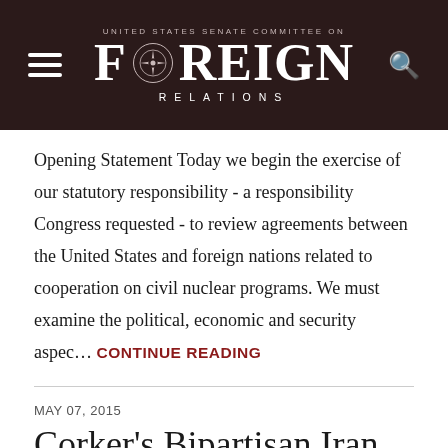UNITED STATES SENATE COMMITTEE ON FOREIGN RELATIONS
Opening Statement Today we begin the exercise of our statutory responsibility - a responsibility Congress requested - to review agreements between the United States and foreign nations related to cooperation on civil nuclear programs. We must examine the political, economic and security aspec… CONTINUE READING
MAY 07, 2015
Corker's Bipartisan Iran Nuclear Agreement Review